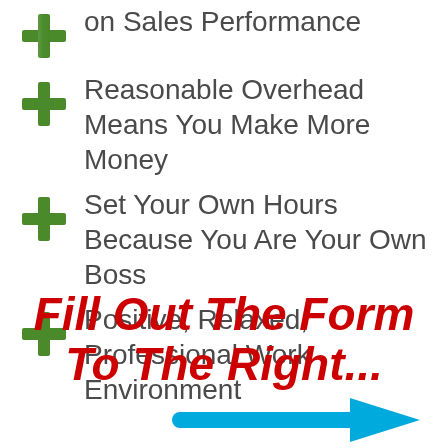on Sales Performance
Reasonable Overhead Means You Make More Money
Set Your Own Hours Because You Are Your Own Boss
Positive, Relaxed, Professional Work Environment
Fill Out The Form To The Right...
[Figure (illustration): Blue arrow pointing to the right]